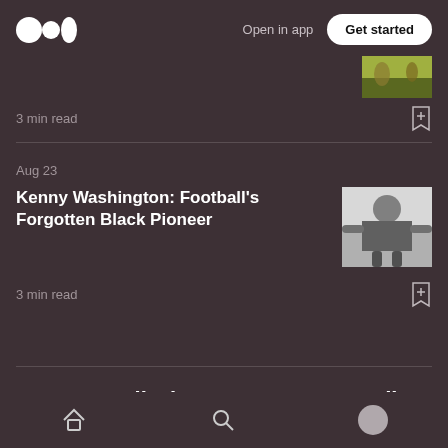Open in app | Get started
3 min read
Aug 23
Kenny Washington: Football's Forgotten Black Pioneer
3 min read
Get an email whenever Joe Guzzardi publishes.